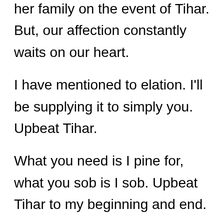her family on the event of Tihar. But, our affection constantly waits on our heart.
I have mentioned to elation. I'll be supplying it to simply you. Upbeat Tihar.
What you need is I pine for, what you sob is I sob. Upbeat Tihar to my beginning and end.
A thriller to everlasting fame is love. So that you make me everlasting. Upbeat Dipawali to our everlasting reputation.